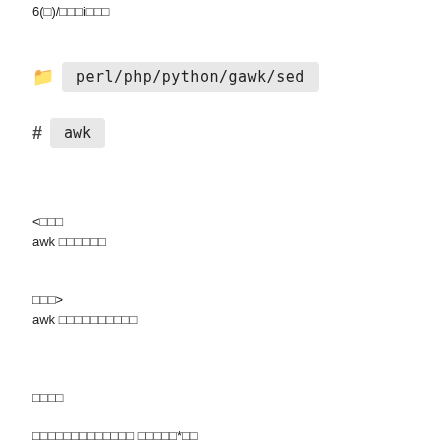6(□)/□□□i□□□
perl/php/python/gawk/sed
awk
<□□□
awk □□□□□□
□□□>
awk □□□□□□□□□□
□□□□
□□□□□□□□□□□□□ □□□□□*□□